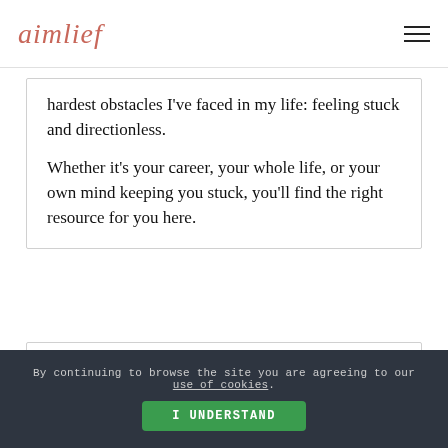aimlief
hardest obstacles I've faced in my life: feeling stuck and directionless.

Whether it's your career, your whole life, or your own mind keeping you stuck, you'll find the right resource for you here.
By continuing to browse the site you are agreeing to our use of cookies. I UNDERSTAND